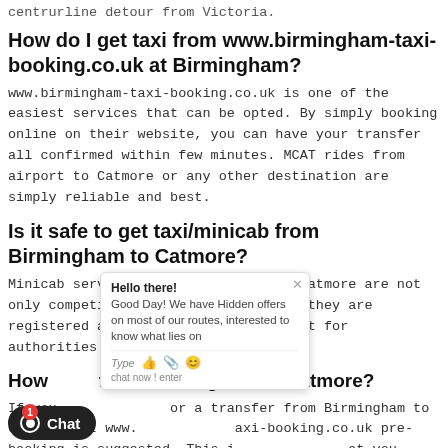centrurline detour from Victoria.
How do I get taxi from www.birmingham-taxi-booking.co.uk at Birmingham?
www.birmingham-taxi-booking.co.uk is one of the easiest services that can be opted. By simply booking online on their website, you can have your transfer all confirmed within few minutes. MCAT rides from airport to Catmore or any other destination are simply reliable and best.
Is it safe to get taxi/minicab from Birmingham to Catmore?
Minicab services from Birmingham to Catmore are not only competitive but safe as well, as they are registered and recognised by transport for authorities.
How long from Birmingham to Catmore?
If you are looking for a transfer from Birmingham to Catmore, at www.birmingham-taxi-booking.co.uk pre-booking is suggested. This is to ensure that you travel in a relaxed mode. Reliable service provider like MCAT and GBAT are punctual with prompt notifications to ensure that your travel becomes an easy pie.
[Figure (screenshot): Chat popup widget showing 'Hello there! Good Day! We have Hidden offers on most of our routes, interested to know what lies on' with a type bar and icons, and a black Chat button with notification badge at bottom left.]